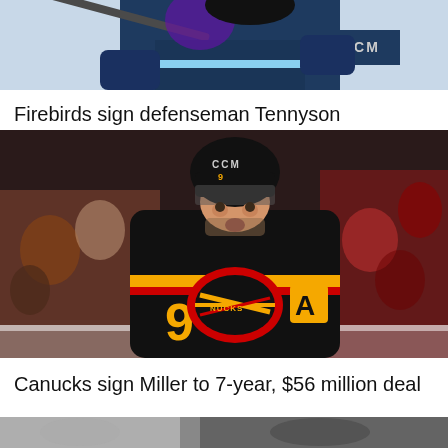[Figure (photo): Hockey player in dark navy blue jersey with CCM equipment, holding a stick, with a purple Winnipeg Jets logo visible in the background — partial/cropped top of page]
Firebirds sign defenseman Tennyson
[Figure (photo): Vancouver Canucks player wearing black jersey with number 9 and letter A (alternate captain), CCM helmet, looking upward, with crowd in background]
Canucks sign Miller to 7-year, $56 million deal
[Figure (photo): Partial photo at bottom of page, cropped — additional hockey story image]